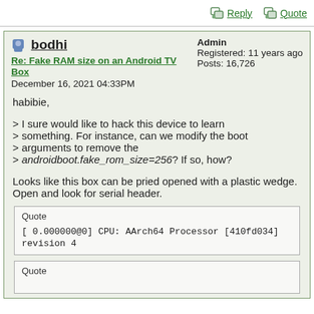Reply   Quote
bodhi
Re: Fake RAM size on an Android TV Box
December 16, 2021 04:33PM
Admin
Registered: 11 years ago
Posts: 16,726
habibie,

> I sure would like to hack this device to learn something. For instance, can we modify the boot arguments to remove the
> androidboot.fake_rom_size=256? If so, how?

Looks like this box can be pried opened with a plastic wedge. Open and look for serial header.
Quote
[ 0.000000@0] CPU: AArch64 Processor [410fd034] revision 4
Quote